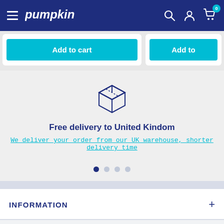Pumpkin - navigation bar with hamburger menu, logo, search, account, cart (0)
Add to cart
Add to
[Figure (illustration): 3D box / package icon drawn in outline style with blue stroke]
Free delivery to United Kindom
We deliver your order from our UK warehouse, shorter delivery time
INFORMATION